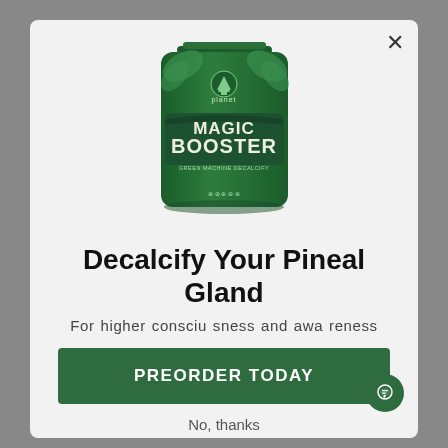[Figure (photo): Green bag product photo of 'Magic Booster - Green Machine Decalcify' by Planet]
Decalcify Your Pineal Gland
For higher consciousness and awareness
PREORDER TODAY
No, thanks